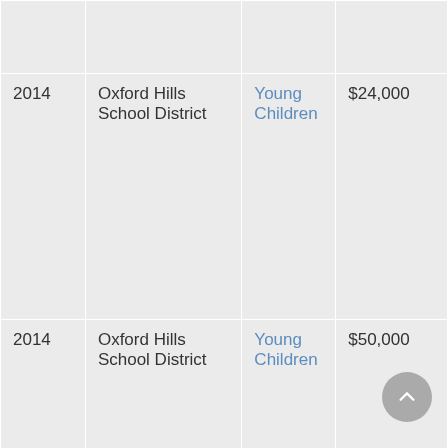| Year | Organization | Category | Amount |
| --- | --- | --- | --- |
|  |  |  |  |
| 2014 | Oxford Hills School District | Young Children | $24,000 |
| 2014 | Oxford Hills School District | Young Children | $50,000 |